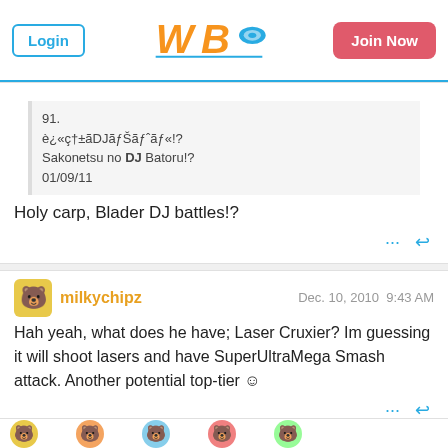Login | WBO logo | Join Now
91.
è¿«ç†±ãDJãƒã‚ˆãƒ«!?
Sakonetsu no DJ Batoru!?
01/09/11
Holy carp, Blader DJ battles!?
milkychipz  Dec. 10, 2010 9:43 AM
Hah yeah, what does he have; Laser Cruxier? Im guessing it will shoot lasers and have SuperUltraMega Smash attack. Another potential top-tier ☺